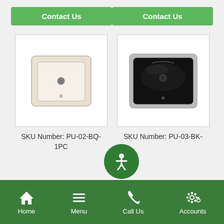[Figure (screenshot): Mobile app product listing page with two contact buttons, two product images (undermount sinks), SKU labels, an accessibility button, and a bottom navigation bar]
Contact Us
Contact Us
[Figure (photo): White/biscuit undermount rectangular bathroom sink viewed from above]
[Figure (photo): Black undermount rectangular bathroom sink viewed from above]
SKU Number: PU-02-BQ-1PC
SKU Number: PU-03-BK-
Home   Menu   Call Us   Accounts